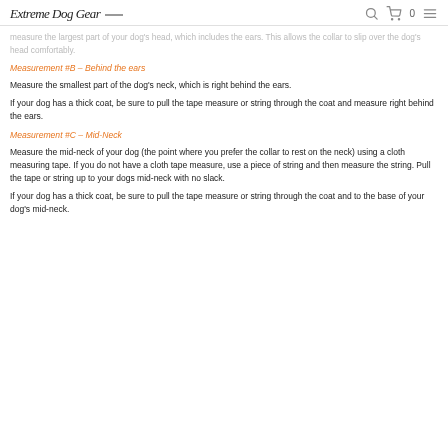Extreme Dog Gear [logo] [search] [cart] 0 [menu]
measure the largest part of your dog's head, which includes the ears. This allows the collar to slip over the dog's head comfortably.
Measurement #B – Behind the ears
Measure the smallest part of the dog's neck, which is right behind the ears.
If your dog has a thick coat, be sure to pull the tape measure or string through the coat and measure right behind the ears.
Measurement #C – Mid-Neck
Measure the mid-neck of your dog (the point where you prefer the collar to rest on the neck) using a cloth measuring tape. If you do not have a cloth tape measure, use a piece of string and then measure the string. Pull the tape or string up to your dogs mid-neck with no slack.
If your dog has a thick coat, be sure to pull the tape measure or string through the coat and to the base of your dog's mid-neck.